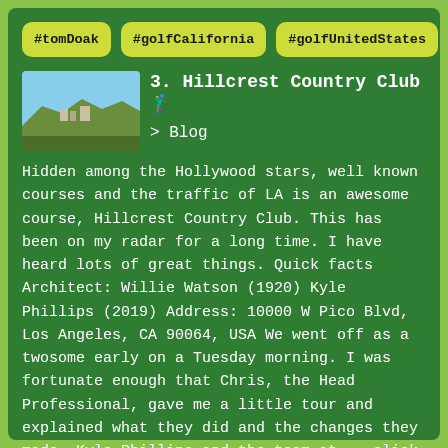#tomDoak
#golfCalifornia
#golfUnitedStates
[Figure (photo): Landscape photo showing a hillside with buildings under a blue sky, likely the Hillcrest Country Club area in Los Angeles]
3. Hillcrest Country Club 🏌️
> Blog
Hidden among the Hollywood stars, well known courses and the traffic of LA is an awesome course, Hillcrest Country Club. This has been on my radar for a long time. I have heard lots of great things. Quick facts Architect: Willie Watson (1920) Kyle Phillips (2019) Address: 10000 W Pico Blvd, Los Angeles, CA 90064, USA We went off as a twosome early on a Tuesday morning. I was fortunate enough that Chris, the Head Professional, gave me a little tour and explained what they did and the changes they made. Kyle Phillips and the team at... click to read more